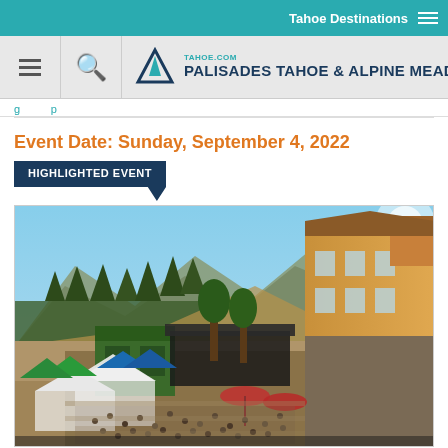Tahoe Destinations
TAHOE.COM PALISADES TAHOE & ALPINE MEADOWS
Event Date: Sunday, September 4, 2022
HIGHLIGHTED EVENT
[Figure (photo): Aerial view of Palisades Tahoe resort village with outdoor festival tents, crowds of people, a stage area, surrounded by mountains and tall trees under a blue sky. A large multi-story lodge building is visible on the right.]